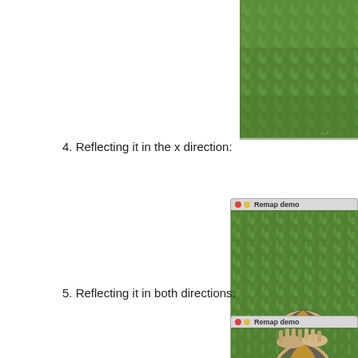[Figure (screenshot): Partial screenshot of a 'Remap demo' window showing grass background image, cropped at top right]
4. Reflecting it in the x direction:
[Figure (screenshot): Screenshot of 'Remap demo' window showing a volleyball on grass, reflected in x direction]
5. Reflecting it in both directions:
[Figure (screenshot): Screenshot of 'Remap demo' window showing a volleyball on grass, reflected in both directions]